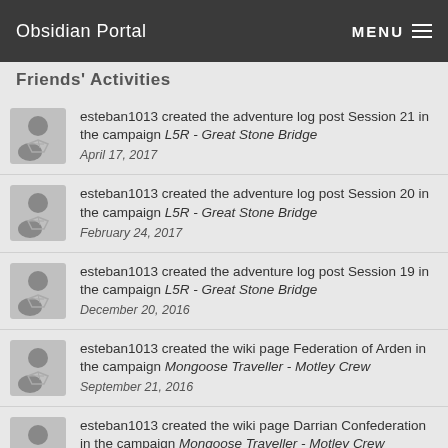Obsidian Portal | MENU
Friends' Activities
esteban1013 created the adventure log post Session 21 in the campaign L5R - Great Stone Bridge
April 17, 2017
esteban1013 created the adventure log post Session 20 in the campaign L5R - Great Stone Bridge
February 24, 2017
esteban1013 created the adventure log post Session 19 in the campaign L5R - Great Stone Bridge
December 20, 2016
esteban1013 created the wiki page Federation of Arden in the campaign Mongoose Traveller - Motley Crew
September 21, 2016
esteban1013 created the wiki page Darrian Confederation in the campaign Mongoose Traveller - Motley Crew
September 21, 2016
esteban1013 created the wiki page Sword Worlds Confederation in the campaign Mongoose Traveller - Motley Crew